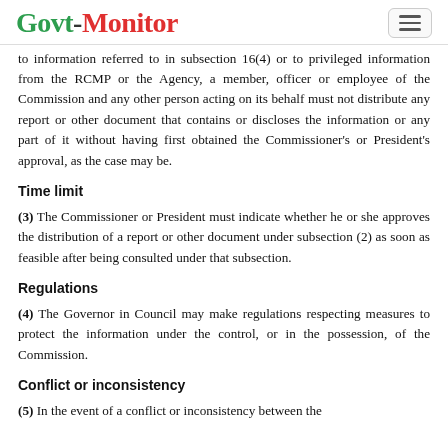Govt-Monitor
to information referred to in subsection 16(4) or to privileged information from the RCMP or the Agency, a member, officer or employee of the Commission and any other person acting on its behalf must not distribute any report or other document that contains or discloses the information or any part of it without having first obtained the Commissioner's or President's approval, as the case may be.
Time limit
(3) The Commissioner or President must indicate whether he or she approves the distribution of a report or other document under subsection (2) as soon as feasible after being consulted under that subsection.
Regulations
(4) The Governor in Council may make regulations respecting measures to protect the information under the control, or in the possession, of the Commission.
Conflict or inconsistency
(5) In the event of a conflict or inconsistency between the